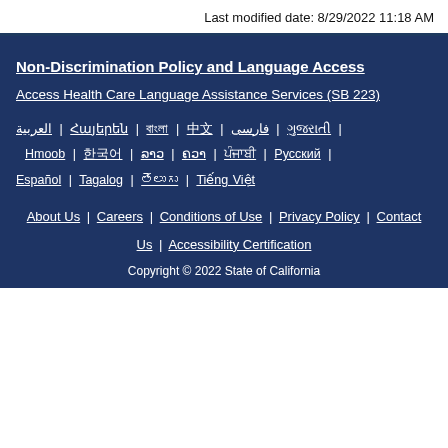Last modified date: 8/29/2022 11:18 AM
Non-Discrimination Policy and Language Access
Access Health Care Language Assistance Services (SB 223)
العربية | Հայերեն | বাংলা | 中文 | فارسی | ગુજરાતી | Hmoob | 한국어 | ລາວ | ຄວາ | ਪੰਜਾਬੀ | Русский | Español | Tagalog | తెలుగు | Tiếng Việt
About Us | Careers | Conditions of Use | Privacy Policy | Contact Us | Accessibility Certification
Copyright © 2022 State of California